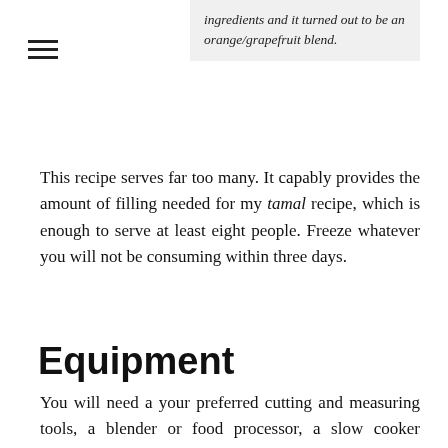[Figure (other): Hamburger menu icon (three horizontal lines)]
ingredients and it turned out to be an orange/grapefruit blend.
This recipe serves far too many. It capably provides the amount of filling needed for my tamal recipe, which is enough to serve at least eight people. Freeze whatever you will not be consuming within three days.
Equipment
You will need a your preferred cutting and measuring tools, a blender or food processor, a slow cooker (preferably an Instant Pot), a large bowl, and two forks. You will also need a small bowl and a tool for mixing inside it, such as a chopstick or small fork. You may also need a large frying pan and your preferred source of bottom-up heat and a saucepan and wooden spoon.